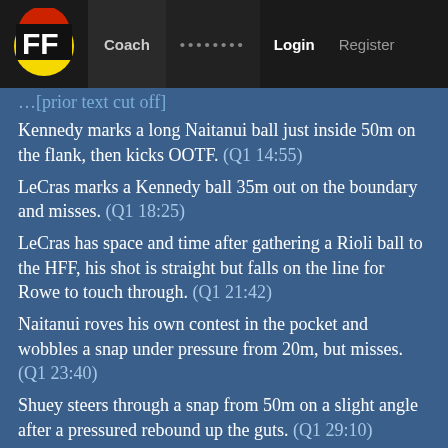FF Coach ••••••••  Login  Register
Kennedy marks a long Naitanui ball just inside 50m on the flank, then kicks OOTF. (Q1 14:55)
LeCras marks a Kennedy ball 35m out on the boundary and misses. (Q1 18:25)
LeCras has space and time after gathering a Rioli ball to the HFF, his shot is straight but falls on the line for Rowe to touch through. (Q1 21:42)
Naitanui roves his own contest in the pocket and wobbles a snap under pressure from 20m, but misses. (Q1 23:40)
Shuey steers through a snap from 50m on a slight angle after a pressured rebound up the guts. (Q1 29:10)
Sheed misses on the run from near CHF just